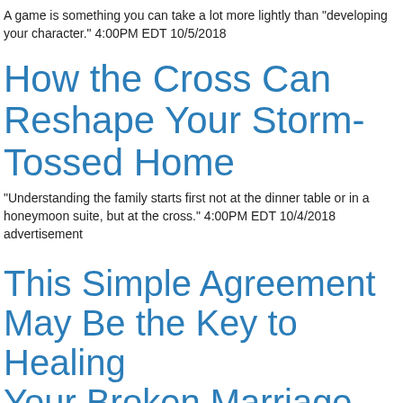A game is something you can take a lot more lightly than "developing your character." 4:00PM EDT 10/5/2018
How the Cross Can Reshape Your Storm-Tossed Home
"Understanding the family starts first not at the dinner table or in a honeymoon suite, but at the cross." 4:00PM EDT 10/4/2018 advertisement
This Simple Agreement May Be the Key to Healing Your Broken Marriage